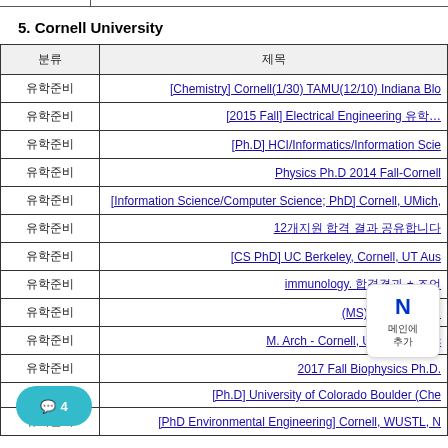5. Cornell University
| 분류 | 제목 |
| --- | --- |
| 유학준비 | [Chemistry] Cornell(1/30) TAMU(12/10) Indiana Blo… |
| 유학준비 | [2015 Fall] Electrical Engineering 유학… |
| 유학준비 | [Ph.D] HCI/Informatics/Information Scie… |
| 유학준비 | Physics Ph.D 2014 Fall-Cornell |
| 유학준비 | [Information Science/Computer Science; PhD] Cornell, UMich,… |
| 유학준비 | 12개지원 합격 결과 공유합니다 |
| 유학준비 | [CS PhD] UC Berkeley, Cornell, UT Aus… |
| 유학준비 | immunology. 합격결과 + 조언 |
| 유학준비 | (MS) Cornell MILR… |
| 유학준비 | M. Arch - Cornell, UC Berkel… ic |
| 유학준비 | 2017 Fall Biophysics Ph.D. |
| 유학준비 | [Ph.D] University of Colorado Boulder (Che… |
| 유학준비 | [PhD Environmental Engineering] Cornell, WUSTL, N… |